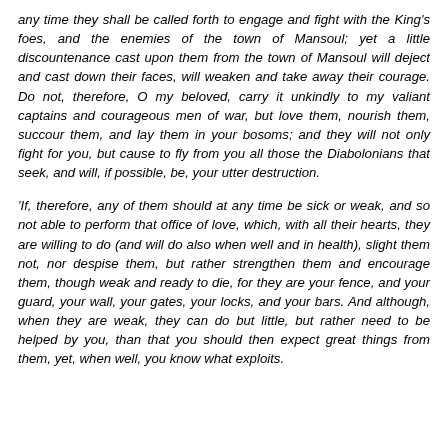any time they shall be called forth to engage and fight with the King's foes, and the enemies of the town of Mansoul; yet a little discountenance cast upon them from the town of Mansoul will deject and cast down their faces, will weaken and take away their courage. Do not, therefore, O my beloved, carry it unkindly to my valiant captains and courageous men of war, but love them, nourish them, succour them, and lay them in your bosoms; and they will not only fight for you, but cause to fly from you all those the Diabolonians that seek, and will, if possible, be, your utter destruction.
'If, therefore, any of them should at any time be sick or weak, and so not able to perform that office of love, which, with all their hearts, they are willing to do (and will do also when well and in health), slight them not, nor despise them, but rather strengthen them and encourage them, though weak and ready to die, for they are your fence, and your guard, your wall, your gates, your locks, and your bars. And although, when they are weak, they can do but little, but rather need to be helped by you, than that you should then expect great things from them, yet, when well, you know what exploits.